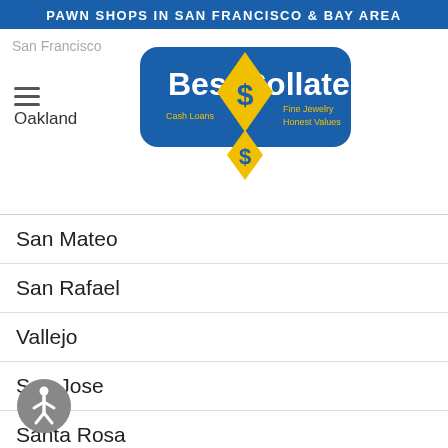PAWN SHOPS IN SAN FRANCISCO & BAY AREA
[Figure (logo): Best Collateral logo — blue rounded rectangle with yellow diamond and dollar sign. Text: Best Collateral, Cash Loans, Fine Jewelry, Honest Values]
San Francisco
Oakland
San Mateo
San Rafael
Vallejo
San Jose
Santa Rosa
Sacramento
Marysville
[Figure (illustration): Accessibility icon — gray circle with white wheelchair/person symbol]